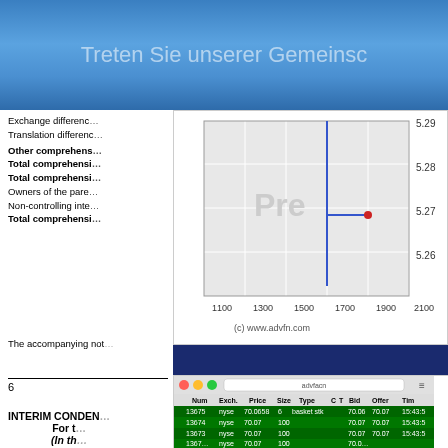[Figure (screenshot): Blue banner with text 'Treten Sie unserer Gemeinschaft bei' (partially visible)]
Exchange difference
Translation differenc
Other comprehens
Total comprehensi
Total comprehensi
Owners of the pare
Non-controlling inte
Total comprehensi
[Figure (continuous-plot): Stock price chart showing price range 5.26-5.29 with x-axis from 1100-2100, featuring a blue vertical line near 1600 and a red dot near 1800. Attribution: (c) www.advfn.com]
The accompanying not
6
[Figure (screenshot): ADVFN Trades (Time & Sales) screenshot showing a table with columns: Num, Exch., Price, Size, Type, C, T, Bid, Offer, Tim. Rows show trades for nyse with prices around 70.06-70.07]
INTERIM CONDEN
For t
(In th